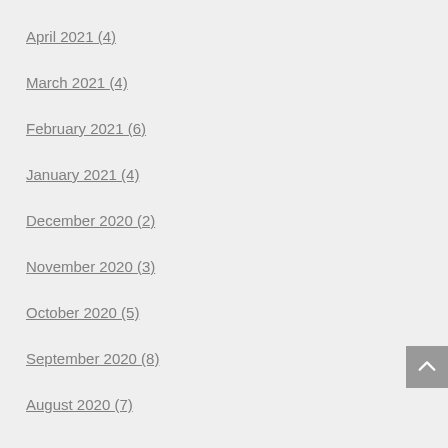April 2021 (4)
March 2021 (4)
February 2021 (6)
January 2021 (4)
December 2020 (2)
November 2020 (3)
October 2020 (5)
September 2020 (8)
August 2020 (7)